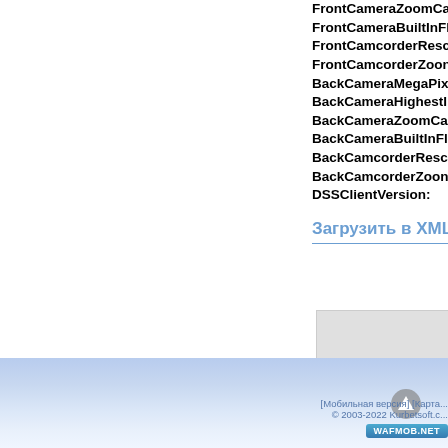FrontCameraZoomCa...
FrontCameraBuiltInFl...
FrontCamcorderReso...
FrontCamcorderZoom...
BackCameraMegaPix...
BackCameraHighestI...
BackCameraZoomCa...
BackCameraBuiltInFl...
BackCamcorderReso...
BackCamcorderZoom...
DSSClientVersion:
Загрузить в XML
[Мобильная версия] [Карта...  © 2003-2022 Kurbetsoft.c...  WAFMOB.NET